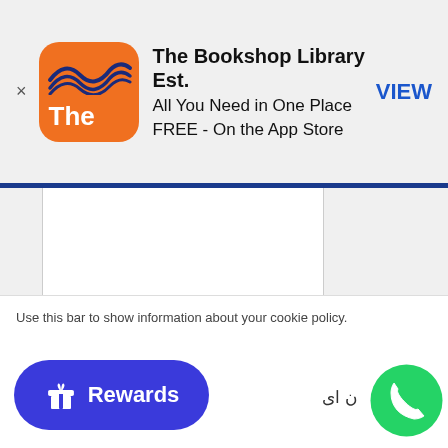[Figure (screenshot): App Store advertisement banner for The Bookshop Library Est. with orange logo showing 'The' text, close button (×), app name, tagline 'All You Need in One Place', 'FREE - On the App Store', and 'VIEW' button in blue]
Use this bar to show information about your cookie policy.
[Figure (illustration): Rewards button — dark blue rounded pill button with gift box icon and 'Rewards' label]
[Figure (logo): WhatsApp green circular chat button with phone handset icon]